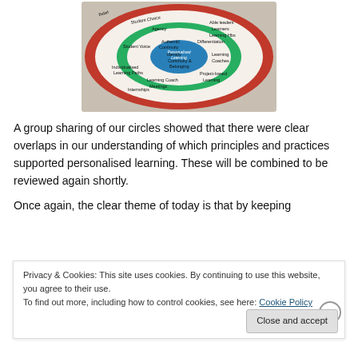[Figure (illustration): A hand-drawn concentric circles diagram showing concepts related to personalised learning, with labels such as Agency, Identity, Continuity, Student Choice, Student Voice, Individualised Learning Paths, Internships, Differentiation, Learning Coaches, Project-based Learning, Learning Coach Meetings, and more. The innermost circle is blue, surrounded by a green ring, then a white ring, then a red/brown outer ring.]
A group sharing of our circles showed that there were clear overlaps in our understanding of which principles and practices supported personalised learning. These will be combined to be reviewed again shortly.
Once again, the clear theme of today is that by keeping
Privacy & Cookies: This site uses cookies. By continuing to use this website, you agree to their use.
To find out more, including how to control cookies, see here: Cookie Policy